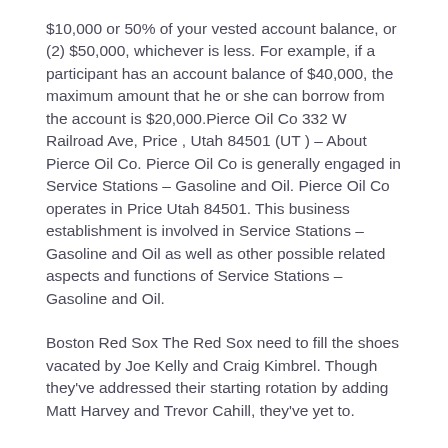$10,000 or 50% of your vested account balance, or (2) $50,000, whichever is less. For example, if a participant has an account balance of $40,000, the maximum amount that he or she can borrow from the account is $20,000.Pierce Oil Co 332 W Railroad Ave, Price , Utah 84501 (UT ) – About Pierce Oil Co. Pierce Oil Co is generally engaged in Service Stations – Gasoline and Oil. Pierce Oil Co operates in Price Utah 84501. This business establishment is involved in Service Stations – Gasoline and Oil as well as other possible related aspects and functions of Service Stations – Gasoline and Oil.
Boston Red Sox The Red Sox need to fill the shoes vacated by Joe Kelly and Craig Kimbrel. Though they've addressed their starting rotation by adding Matt Harvey and Trevor Cahill, they've yet to.